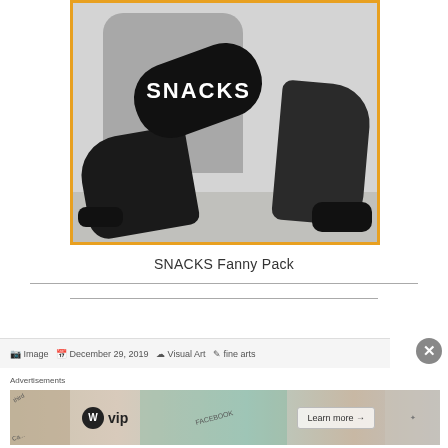[Figure (photo): Person sitting on floor wearing gray sweatshirt and black jeans, holding a black fanny pack with 'SNACKS' written in white text on it. The image has an orange/yellow border.]
SNACKS Fanny Pack
Image · December 29, 2019 · Visual Art · fine arts
Advertisements
[Figure (advertisement): WordPress VIP advertisement banner showing WP VIP logo on the left, colorful card/collage imagery in center, and a 'Learn more →' button on the right.]